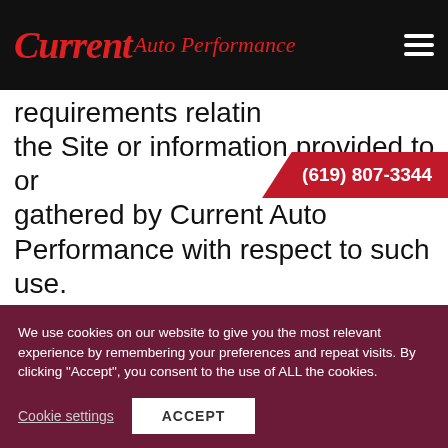Current Auto Performance | (619) 807-3344
requirements relatin the Site or information provided to or gathered by Current Auto Performance with respect to such use. If any part of this agreement is determined to be invalid or unenforceable pursuant to applicable law including, but not limited to, the warranty disclaimers and liability
We use cookies on our website to give you the most relevant experience by remembering your preferences and repeat visits. By clicking "Accept", you consent to the use of ALL the cookies.
Cookie settings | ACCEPT